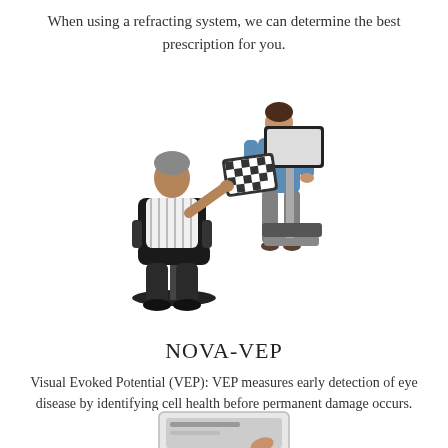When using a refracting system, we can determine the best prescription for you.
[Figure (photo): A patient seated in a black office chair pointing at a checkerboard VEP monitor, with a clinician in blue scrubs standing beside the equipment cart which holds two monitors and a keyboard.]
NOVA-VEP
Visual Evoked Potential (VEP): VEP measures early detection of eye disease by identifying cell health before permanent damage occurs.
[Figure (photo): Partial image of a NOVA device screen with a hand or finger visible, cropped at the bottom of the page.]